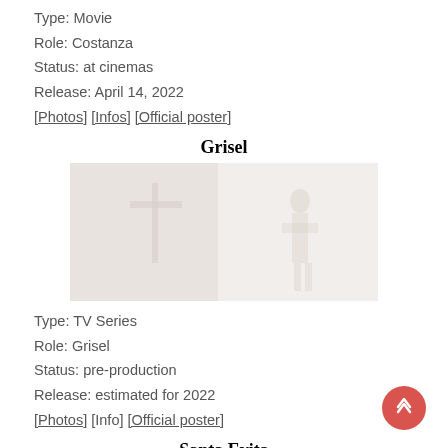Type: Movie
Role: Costanza
Status: at cinemas
Release: April 14, 2022
[Photos] [Infos] [Official poster]
Grisel
[Figure (photo): Movie or TV series still image, light gray background, faint silhouetted figures]
Type: TV Series
Role: Grisel
Status: pre-production
Release: estimated for 2022
[Photos] [Info] [Official poster]
Santa Evita